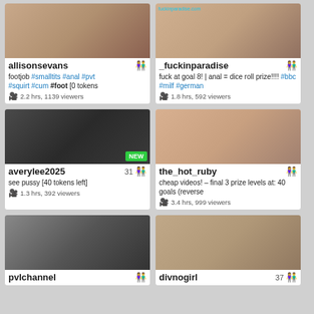[Figure (photo): Webcam thumbnail for allisonsevans]
allisonsevans
footjob #smalltits #anal #pvt #squirt #cum #foot [0 tokens
2.2 hrs, 1139 viewers
[Figure (photo): Webcam thumbnail for _fuckinparadise]
_fuckinparadise
fuck at goal 8! | anal = dice roll prize!!!! #bbc #milf #german
1.8 hrs, 592 viewers
[Figure (photo): Webcam thumbnail for averylee2025, NEW badge]
averylee2025  31
see pussy [40 tokens left]
1.3 hrs, 392 viewers
[Figure (photo): Webcam thumbnail for the_hot_ruby]
the_hot_ruby
cheap videos! – final 3 prize levels at: 40 goals (reverse
3.4 hrs, 999 viewers
[Figure (photo): Webcam thumbnail for pvlchannel]
pvlchannel
[Figure (photo): Webcam thumbnail for divnogirl]
divnogirl  37